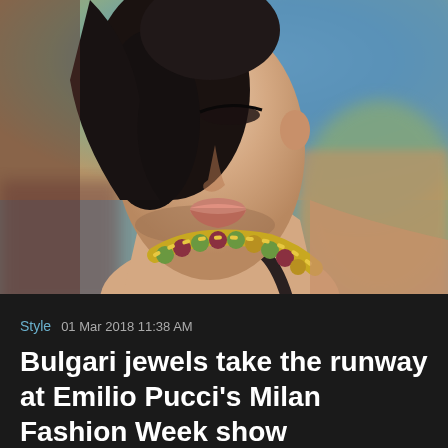[Figure (photo): Close-up fashion photo of a model with dark hair wearing a decorative gold, green and red gemstone necklace, shot against a blurred background with blue and brown tones.]
Style   01 Mar 2018 11:38 AM
Bulgari jewels take the runway at Emilio Pucci’s Milan Fashion Week show